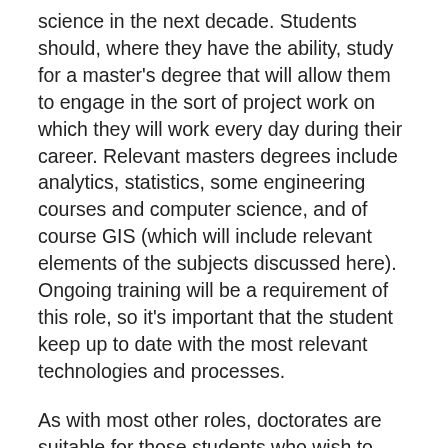science in the next decade. Students should, where they have the ability, study for a master's degree that will allow them to engage in the sort of project work on which they will work every day during their career. Relevant masters degrees include analytics, statistics, some engineering courses and computer science, and of course GIS (which will include relevant elements of the subjects discussed here). Ongoing training will be a requirement of this role, so it's important that the student keep up to date with the most relevant technologies and processes.
As with most other roles, doctorates are suitable for those students who wish to teach a relevant subject. As Transportation Modeling Specialists work in an area of applied science, it is perhaps unnecessary to take your studies as far as a PhD. However, some high level decision-making roles may require it.